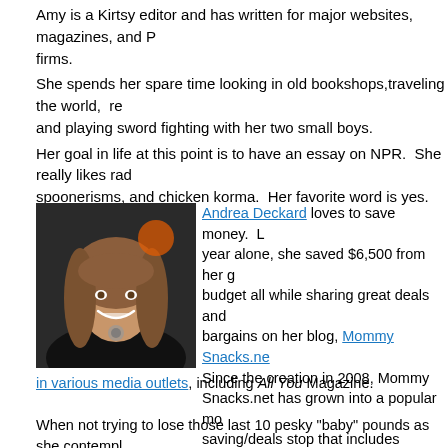Amy is a Kirtsy editor and has written for major websites, magazines, and PR firms.
She spends her spare time looking in old bookshops, traveling the world, re and playing sword fighting with her two small boys.
Her goal in life at this point is to have an essay on NPR. She really likes rad spoonerisms, and chicken korma. Her favorite word is yes.
[Figure (photo): Photo of Andrea Deckard, a woman with long brown hair, smiling, wearing a dark top and necklace, dark background]
Andrea Deckard loves to save money. L year alone, she saved $6,500 from her g budget all while sharing great deals and bargains on her blog, Mommy Snacks.ne Since the creation in 2008, Mommy Snacks.net has grown into a popular mo saving/deals stop that includes readers a over the US. Her motto is to "save mon what you need so you can spend more o what you want." It is her desire to help o realize that savings of any amount is with reach! Andrea has been quoted as an ex in various media outlets, including All You Magazine.
When not trying to lose those last 10 pesky "baby" pounds as she contempl running her first half marathon, Andrea is likely with her husband at one of t